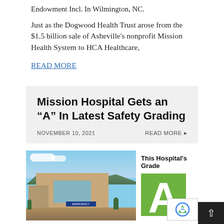Endowment Incl. In Wilmington, NC.
Just as the Dogwood Health Trust arose from the $1.5 billion sale of Asheville’s nonprofit Mission Health System to HCA Healthcare,
READ MORE
Mission Hospital Gets an “A” In Latest Safety Grading
NOVEMBER 10, 2021
READ MORE
[Figure (photo): Photo of Mission Hospital building exterior with emergency entrance sign visible, mountain backdrop, and a grade panel showing 'This Hospital's Grade' with a green 'A' letter grade box]